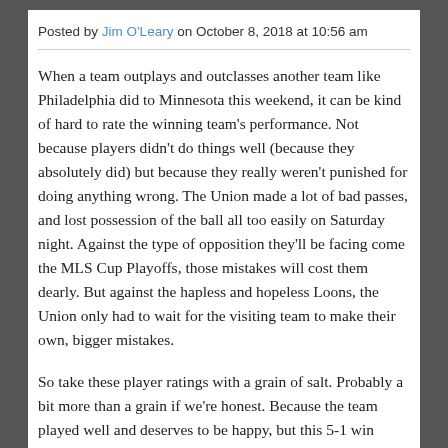Posted by Jim O'Leary on October 8, 2018 at 10:56 am
When a team outplays and outclasses another team like Philadelphia did to Minnesota this weekend, it can be kind of hard to rate the winning team's performance. Not because players didn't do things well (because they absolutely did) but because they really weren't punished for doing anything wrong. The Union made a lot of bad passes, and lost possession of the ball all too easily on Saturday night. Against the type of opposition they'll be facing come the MLS Cup Playoffs, those mistakes will cost them dearly. But against the hapless and hopeless Loons, the Union only had to wait for the visiting team to make their own, bigger mistakes.
So take these player ratings with a grain of salt. Probably a bit more than a grain if we're honest. Because the team played well and deserves to be happy, but this 5-1 win wasn't anywhere near as impressive a performance as the 1-0 over